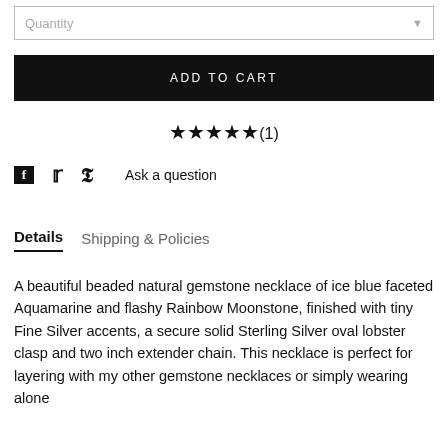Quantity
ADD TO CART
★★★★★(1)
Ask a question
Details    Shipping & Policies
A beautiful beaded natural gemstone necklace of ice blue faceted Aquamarine and flashy Rainbow Moonstone, finished with tiny Fine Silver accents, a secure solid Sterling Silver oval lobster clasp and two inch extender chain. This necklace is perfect for layering with my other gemstone necklaces or simply wearing alone